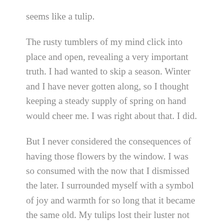seems like a tulip.
The rusty tumblers of my mind click into place and open, revealing a very important truth. I had wanted to skip a season. Winter and I have never gotten along, so I thought keeping a steady supply of spring on hand would cheer me. I was right about that. I did.
But I never considered the consequences of having those flowers by the window. I was so consumed with the now that I dismissed the later. I surrounded myself with a symbol of joy and warmth for so long that it became the same old. My tulips lost their luster not by becoming rare, but by becoming familiar.
Which is why next year I think I'll leave them at the nursery down the road. I'll let someone else give it a